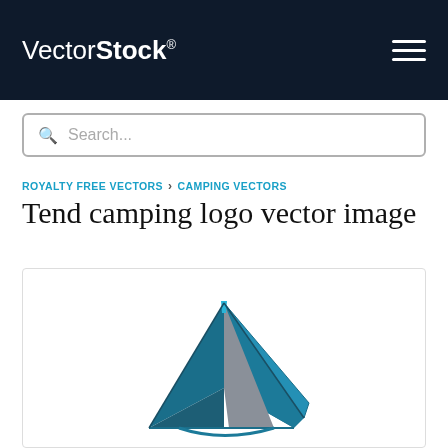VectorStock® ☰
Search...
ROYALTY FREE VECTORS › CAMPING VECTORS
Tend camping logo vector image
[Figure (illustration): A camping tent logo illustration in teal/dark blue and gray colors, showing a stylized tent shape with angular panels viewed from a 3/4 perspective angle.]